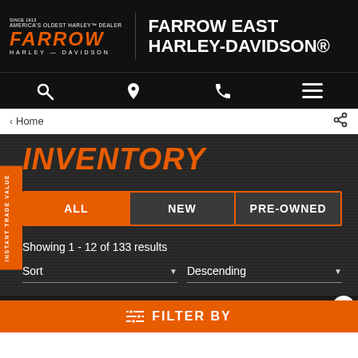Farrow East Harley-Davidson® — America's Oldest Harley Dealer
Home
INVENTORY
ALL | NEW | PRE-OWNED
Showing 1 - 12 of 133 results
Sort  Descending
FILTER BY